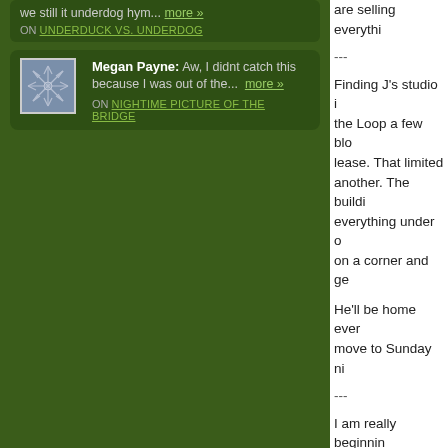we still it underdog hym... more » ON UNDERDUCK VS. UNDERDOG
Megan Payne: Aw, I didnt catch this because I was out of the... more » ON NIGHTIME PICTURE OF THE BRIDGE
are selling everythi...
---
Finding J's studio i... the Loop a few blo... lease. That limited ... another. The buildi... everything under o... on a corner and ge...
He'll be home ever... move to Sunday ni...
---
I am really beginnin... there. Moving, clea... to walking as soon ... biggest problems I'... one that I broke a f... I'm thinking both of... stretches, which is...